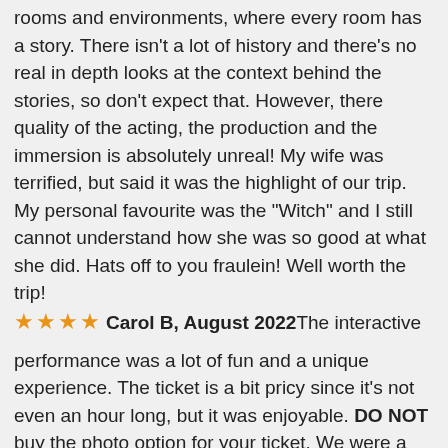rooms and environments, where every room has a story. There isn't a lot of history and there's no real in depth looks at the context behind the stories, so don't expect that. However, there quality of the acting, the production and the immersion is absolutely unreal! My wife was terrified, but said it was the highlight of our trip. My personal favourite was the "Witch" and I still cannot understand how she was so good at what she did. Hats off to you fraulein! Well worth the trip!
★★★★ Carol B, August 2022 The interactive performance was a lot of fun and a unique experience. The ticket is a bit pricy since it's not even an hour long, but it was enjoyable. DO NOT buy the photo option for your ticket. We were a family of 4, so we added the photo option to each ticket, thinking that we would have a few options to choose from. Instead, it ended up being one pose that was rushed when we first entered. All 4 of us received the same photo, and it was terrible - plus we were expected to print it ourselves. Definitely a waste of